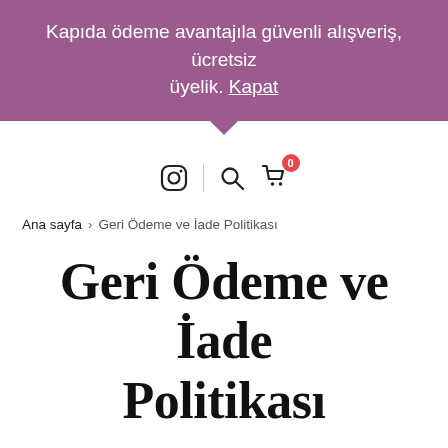Kapıda ödeme avantajıla güvenli alışveriş, ücretsiz üyelik. Kapat
[Figure (screenshot): Icon bar with Instagram icon, search icon, and shopping cart icon with badge showing 0]
Ana sayfa > Geri Ödeme ve İade Politikası
Geri Ödeme ve İade Politikası
Translate »